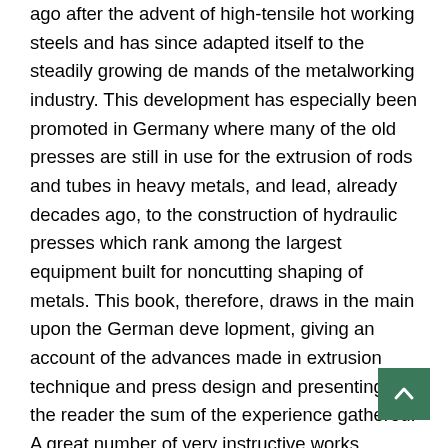ago after the advent of high-tensile hot working steels and has since adapted itself to the steadily growing de mands of the metalworking industry. This development has especially been promoted in Germany where many of the old presses are still in use for the extrusion of rods and tubes in heavy metals, and lead, already decades ago, to the construction of hydraulic presses which rank among the largest equipment built for noncutting shaping of metals. This book, therefore, draws in the main upon the German deve lopment, giving an account of the advances made in extrusion technique and press design and presenting to the reader the sum of the experience gathered. A great number of very instructive works dealing with the techno logical aspects in the extrusion of metals and the results obtained in metallurgical investigations been published. These, it is true, contain important reference material regarding the design of presses and